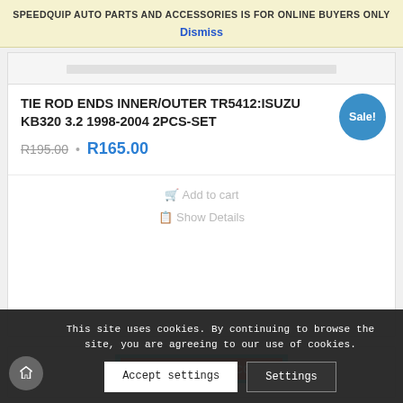SPEEDQUIP AUTO PARTS AND ACCESSORIES IS FOR ONLINE BUYERS ONLY
Dismiss
TIE ROD ENDS INNER/OUTER TR5412:ISUZU KB320 3.2 1998-2004 2PCS-SET
R195.00 • R165.00
Sale!
Add to cart
Show Details
[Figure (logo): SpeedQuip website logo: www.speedquip.co.za on red background with cyan border]
This site uses cookies. By continuing to browse the site, you are agreeing to our use of cookies.
Accept settings
Settings